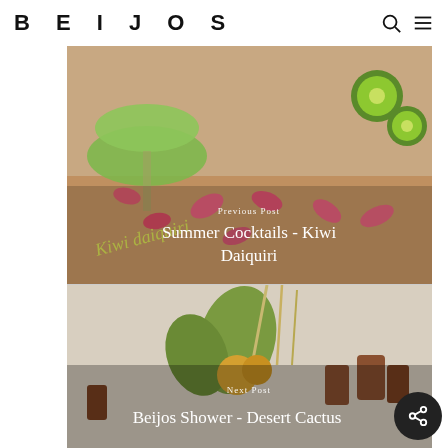BEIJOS
[Figure (photo): Top image showing kiwi daiquiri cocktails with kiwi slices and pink flower petals on a wooden board, with text overlay 'Previous Post / Summer Cocktails - Kiwi Daiquiri' and a cursive watermark 'Kiwi Daiquiri']
[Figure (photo): Bottom image showing a desert cactus floral arrangement with dried flowers, copper cups, and various botanicals, with text overlay 'Next Post / Beijos Shower - Desert Cactus']